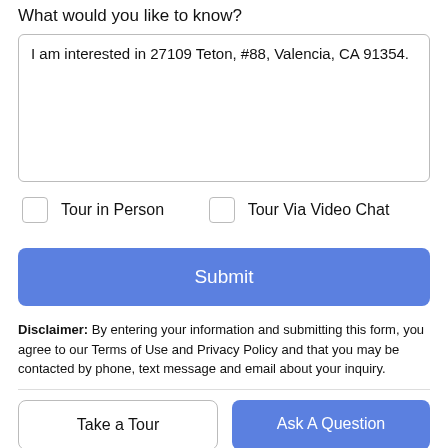What would you like to know?
I am interested in 27109 Teton, #88, Valencia, CA 91354.
Tour in Person
Tour Via Video Chat
Submit
Disclaimer: By entering your information and submitting this form, you agree to our Terms of Use and Privacy Policy and that you may be contacted by phone, text message and email about your inquiry.
Take a Tour
Ask A Question